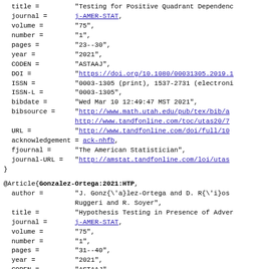BibTeX bibliography entry continuation and second entry for Gonzalez-Ortega:2021:HTP